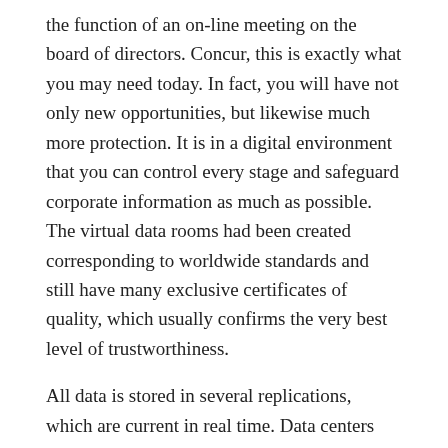the function of an on-line meeting on the board of directors. Concur, this is exactly what you may need today. In fact, you will have not only new opportunities, but likewise much more protection. It is in a digital environment that you can control every stage and safeguard corporate information as much as possible. The virtual data rooms had been created corresponding to worldwide standards and still have many exclusive certificates of quality, which usually confirms the very best level of trustworthiness.
All data is stored in several replications, which are current in real time. Data centers experience strict access control and multi-level proper protection. The equipment on its own is able to operate even inside the most intense situations. Additionally, it is worth talking about the most modern methods of info transmission and encryption. Every single action with documentation can be recorded